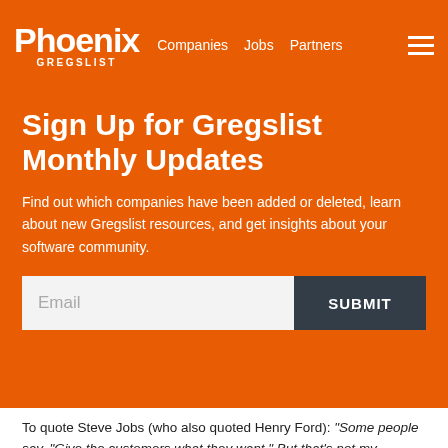Phoenix GREGSLIST  Companies  Jobs  Partners
Sign Up for Gregslist Monthly Updates
Find out which companies have been added or deleted, learn about new Gregslist resources, and get insights about your software community.
To quote Steve Jobs (who also quoted Henry Ford): "Some people say, "Give the customers what they want." But that's not my approach. Our job is to figure out what they're going to want before they do. I think Henry Ford once said, 'If I'd asked customers what they wanted, they would have